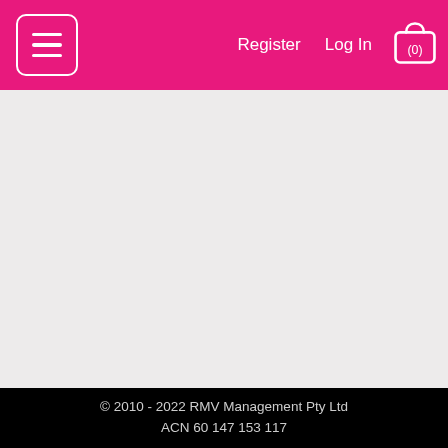Register   Log In   (0)
[Figure (screenshot): Empty grey main content area of a website]
© 2010 - 2022 RMV Management Pty Ltd ACN 60 147 153 117